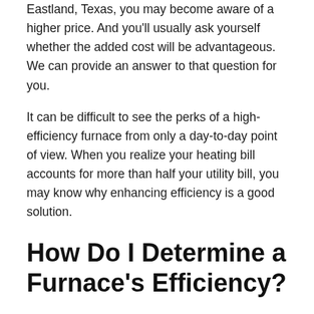Eastland, Texas, you may become aware of a higher price. And you'll usually ask yourself whether the added cost will be advantageous. We can provide an answer to that question for you.
It can be difficult to see the perks of a high-efficiency furnace from only a day-to-day point of view. When you realize your heating bill accounts for more than half your utility bill, you may know why enhancing efficiency is a good solution.
How Do I Determine a Furnace's Efficiency?
You'll realize that furnaces list an AFUE rating, or Annualized Fuel Utilization Efficiency ratio. It gauges the percentage of heat made for each dollar of energy.